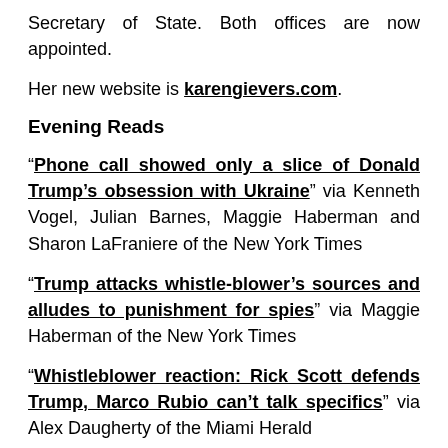Secretary of State. Both offices are now appointed.
Her new website is karengievers.com.
Evening Reads
“Phone call showed only a slice of Donald Trump’s obsession with Ukraine” via Kenneth Vogel, Julian Barnes, Maggie Haberman and Sharon LaFraniere of the New York Times
“Trump attacks whistle-blower’s sources and alludes to punishment for spies” via Maggie Haberman of the New York Times
“Whistleblower reaction: Rick Scott defends Trump, Marco Rubio can’t talk specifics” via Alex Daugherty of the Miami Herald